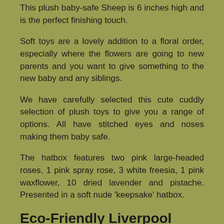This plush baby-safe Sheep is 6 inches high and is the perfect finishing touch.
Soft toys are a lovely addition to a floral order, especially where the flowers are going to new parents and you want to give something to the new baby and any siblings.
We have carefully selected this cute cuddly selection of plush toys to give you a range of options. All have stitched eyes and noses making them baby safe.
The hatbox features two pink large-headed roses, 1 pink spray rose, 3 white freesia, 1 pink waxflower, 10 dried lavender and pistache. Presented in a soft nude 'keepsake' hatbox.
Eco-Friendly Liverpool Florists
As florists we feel very close earth and want to